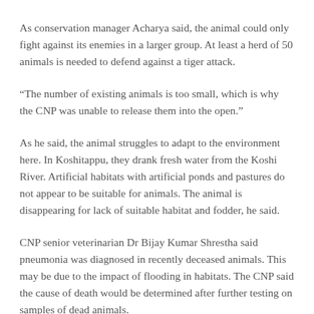As conservation manager Acharya said, the animal could only fight against its enemies in a larger group. At least a herd of 50 animals is needed to defend against a tiger attack.
“The number of existing animals is too small, which is why the CNP was unable to release them into the open.”
As he said, the animal struggles to adapt to the environment here. In Koshitappu, they drank fresh water from the Koshi River. Artificial habitats with artificial ponds and pastures do not appear to be suitable for animals. The animal is disappearing for lack of suitable habitat and fodder, he said.
CNP senior veterinarian Dr Bijay Kumar Shrestha said pneumonia was diagnosed in recently deceased animals. This may be due to the impact of flooding in habitats. The CNP said the cause of death would be determined after further testing on samples of dead animals.